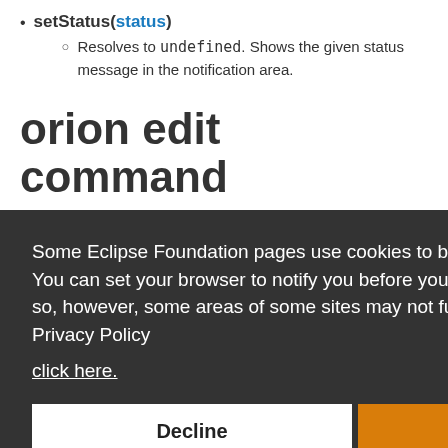setStatus(status)
Resolves to undefined. Shows the given status message in the notification area.
orion edit command
Some Eclipse Foundation pages use cookies to better serve you when you return to the site. You can set your browser to notify you before you receive a cookie or turn off cookies. If you do so, however, some areas of some sites may not function properly. To read Eclipse Foundation Privacy Policy click here.
execute(editorContext, options)